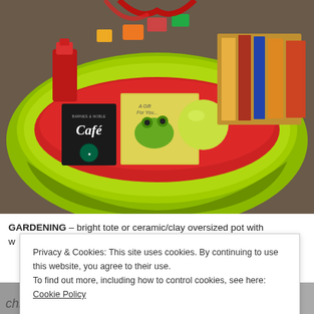[Figure (photo): A green plastic tote/bucket filled with a gift basket. Contents include a Barnes & Noble Cafe (Starbucks) gift card, a children's book titled 'A Gift For You', colorful books and cards on the right side, a yellow-green ball, a red bottle, red tissue paper, and other small items. The basket sits on a brown background.]
GARDENING – bright tote or ceramic/clay oversized pot with
Privacy & Cookies: This site uses cookies. By continuing to use this website, you agree to their use.
To find out more, including how to control cookies, see here: Cookie Policy
Close and accept
[Figure (photo): Bottom strip of a photo showing partial text 'chi' on the left and 'beach' in cursive/handwritten style on the right.]